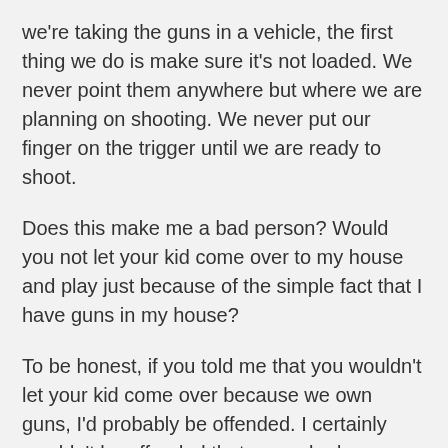we're taking the guns in a vehicle, the first thing we do is make sure it's not loaded. We never point them anywhere but where we are planning on shooting. We never put our finger on the trigger until we are ready to shoot.
Does this make me a bad person? Would you not let your kid come over to my house and play just because of the simple fact that I have guns in my house?
To be honest, if you told me that you wouldn't let your kid come over because we own guns, I'd probably be offended. I certainly wouldn't be offended that you asked, because it's your job as a parent to keep your child safe, and as Rylee gets older and goes on playdates at other people's houses, it's something I'll certainly be asking. I'd take offense to the fact that if you asked, and I took the time to tell you, heck even show you, that we take precautions when it comes to firearms that you would still